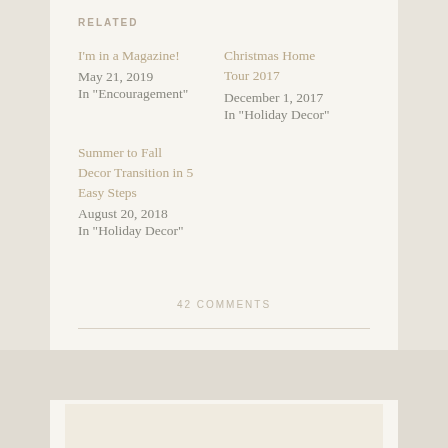RELATED
I'm in a Magazine!
May 21, 2019
In "Encouragement"
Christmas Home Tour 2017
December 1, 2017
In "Holiday Decor"
Summer to Fall Decor Transition in 5 Easy Steps
August 20, 2018
In "Holiday Decor"
42 COMMENTS